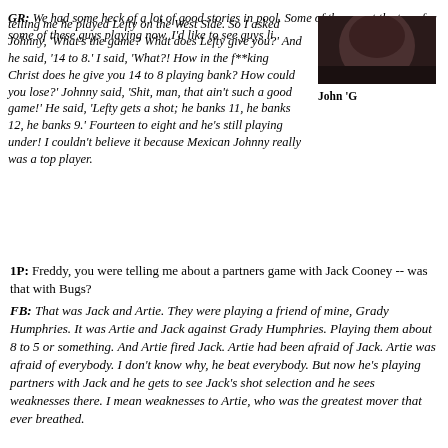telling me he played Lefty on the West Side. So I asked Johnny, 'What's the game? What does Lefty give you?' And he said, '14 to 8.' I said, 'What?! How in the f**king Christ does he give you 14 to 8 playing bank? How could you lose?' Johnny said, 'Shit, man, that ain't such a good game!' He said, 'Lefty gets a shot; he banks 11, he banks 12, he banks 9.' Fourteen to eight and he's still playing under! I couldn't believe it because Mexican Johnny really was a top player.
[Figure (photo): Partial photo of a person, cropped, dark tones]
John 'G
GR: We had some heck of a lot of good stories in pool. Some of the gu set the tone for some of these guys playing now. I'd like to see guys li
1P: Freddy, you were telling me about a partners game with Jack Cooney -- was that with Bugs?
FB: That was Jack and Artie. They were playing a friend of mine, Grady Humphries. It was Artie and Jack against Grady Humphries. Playing them about 8 to 5 or something. And Artie fired Jack. Artie had been afraid of Jack. Artie was afraid of everybody. I don't know why, he beat everybody. But now he's playing partners with Jack and he gets to see Jack's shot selection and he sees weaknesses there. I mean weaknesses to Artie, who was the greatest mover that ever breathed.